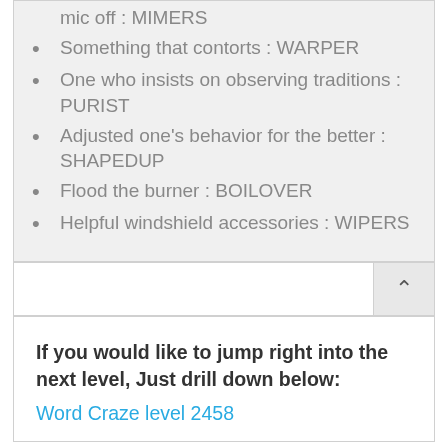mic off : MIMERS
Something that contorts : WARPER
One who insists on observing traditions : PURIST
Adjusted one's behavior for the better : SHAPEDUP
Flood the burner : BOILOVER
Helpful windshield accessories : WIPERS
If you would like to jump right into the next level, Just drill down below:
Word Craze level 2458